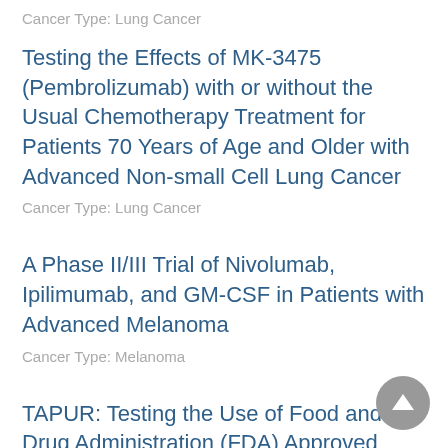Cancer Type: Lung Cancer
Testing the Effects of MK-3475 (Pembrolizumab) with or without the Usual Chemotherapy Treatment for Patients 70 Years of Age and Older with Advanced Non-small Cell Lung Cancer
Cancer Type: Lung Cancer
A Phase II/III Trial of Nivolumab, Ipilimumab, and GM-CSF in Patients with Advanced Melanoma
Cancer Type: Melanoma
TAPUR: Testing the Use of Food and Drug Administration (FDA) Approved Drugs That Target a Specific Abnormality in a Tumor Gene in People